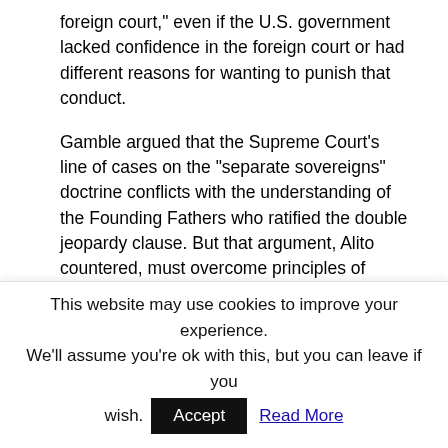foreign court," even if the U.S. government lacked confidence in the foreign court or had different reasons for wanting to punish that conduct.
Gamble argued that the Supreme Court's line of cases on the "separate sovereigns" doctrine conflicts with the understanding of the Founding Fathers who ratified the double jeopardy clause. But that argument, Alito countered, must overcome principles of stare decisis – the idea that courts should not overrule their earlier decisions unless there is a very good reason to do so. "This means," Alito wrote, that Gamble would have to offer "something more than ambiguous historical evidence." But Gamble cannot do so, Alito concluded after reviewing early cases and treatises in some detail, "much less do so with enough force to
This website may use cookies to improve your experience. We'll assume you're ok with this, but you can leave if you wish.